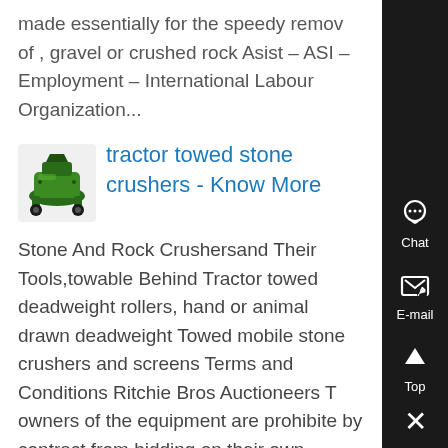made essentially for the speedy removal of , gravel or crushed rock Asist – ASIS – Employment – International Labour Organization...
[Figure (photo): Small green rock crusher / industrial machine thumbnail image]
tractor towed stone crushers - Know More
Stone And Rock Crushersand Their Tools,towable Behind Tractor towed deadweight rollers, hand or animal drawn deadweight Towed mobile stone crushers and screens Terms and Conditions Ritchie Bros Auctioneers T owners of the equipment are prohibited by contract from bidding on their own